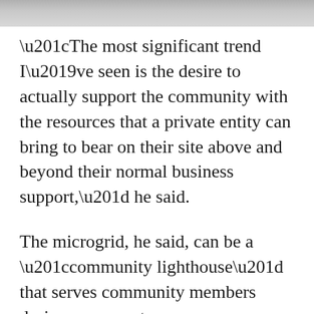[Figure (photo): Gray image strip at the top of the page]
“The most significant trend I’ve seen is the desire to actually support the community with the resources that a private entity can bring to bear on their site above and beyond their normal business support,” he said.
The microgrid, he said, can be a “community lighthouse” that serves community members during power outages.
Many companies are initially drawn to microgrids for resiliency. As storms, wildfires and other events occur,